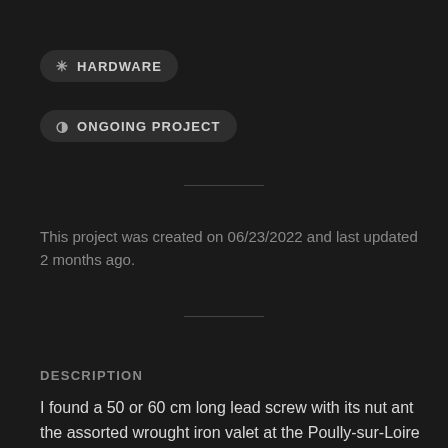✳ HARDWARE
◑ ONGOING PROJECT
This project was created on 06/23/2022 and last updated 2 months ago.
DESCRIPTION
I found a 50 or 60 cm long lead screw with its nut ant the assorted wrought iron valet at the Poully-sur-Loire (good